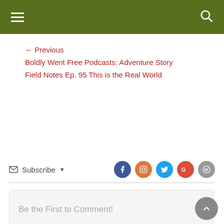Navigation header with hamburger menu and search icon
← Previous Boldly Went Free Podcasts: Adventure Story Field Notes Ep. 95 This is the Real World
Subscribe (dropdown) | Social icons: Facebook, Instagram, Twitter, Google+, WordPress
Be the First to Comment!